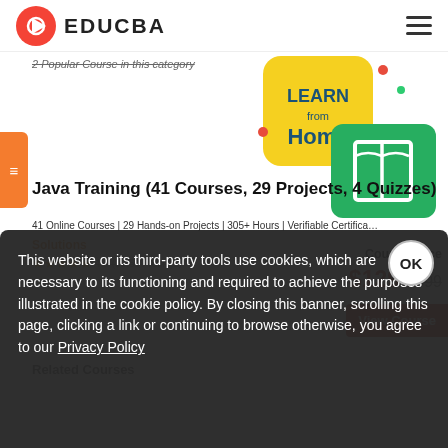[Figure (logo): EDUCBA logo with red play-button icon and hamburger menu on the right]
Popular Course in this category
[Figure (illustration): Learn from Home promotional banner with yellow background, book icon on green background]
Java Training (41 Courses, 29 Projects, 4 Quizzes)
41 Online Courses | 29 Hands-on Projects | 305+ Hours | Verifiable Certificates
Solutions
4.8 (83,519 ratings)
Course Price
$129 $599
View Course
Related Courses
This website or its third-party tools use cookies, which are necessary to its functioning and required to achieve the purposes illustrated in the cookie policy. By closing this banner, scrolling this page, clicking a link or continuing to browse otherwise, you agree to our Privacy Policy